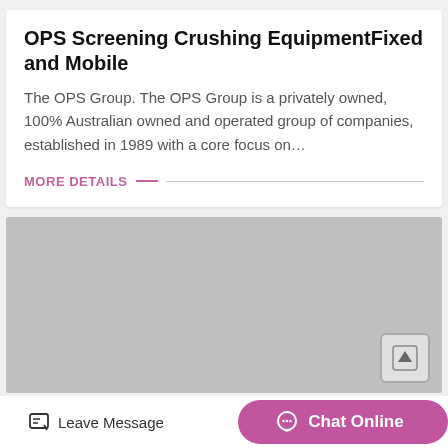OPS Screening Crushing EquipmentFixed and Mobile
The OPS Group. The OPS Group is a privately owned, 100% Australian owned and operated group of companies, established in 1989 with a core focus on…
MORE DETAILS
[Figure (photo): Gray placeholder image block with a scroll-to-top button in the bottom right corner]
Leave Message
Chat Online